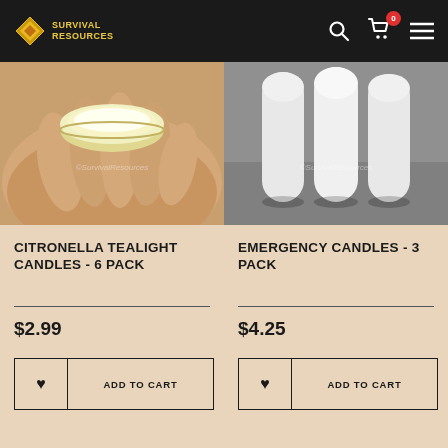SURVIVAL RESOURCES
[Figure (photo): Citronella tealight candle held in a hand, showing a round metal tin with yellow wax, watermarked with ©SurvivalResources]
[Figure (photo): Three white emergency candles standing upright on gray surface, watermarked with ©SurvivalResources]
CITRONELLA TEALIGHT CANDLES - 6 PACK
EMERGENCY CANDLES - 3 PACK
$2.99
$4.25